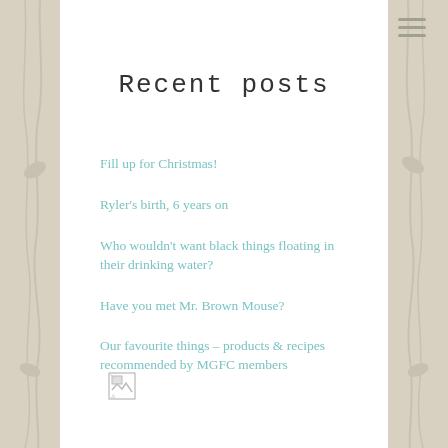Recent posts
Fill up for Christmas!
Ryler's birth, 6 years on
Who wouldn't want black things floating in their drinking water?
Have you met Mr. Brown Mouse?
Our favourite things – products & recipes recommended by MGFC members
[Figure (illustration): Small broken image icon at bottom left of content area]